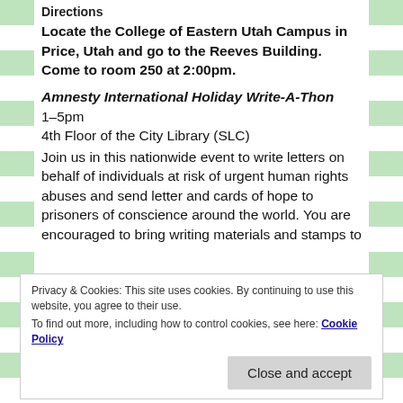Directions
Locate the College of Eastern Utah Campus in Price, Utah and go to the Reeves Building. Come to room 250 at 2:00pm.
Amnesty International Holiday Write-A-Thon
1–5pm
4th Floor of the City Library (SLC)
Join us in this nationwide event to write letters on behalf of individuals at risk of urgent human rights abuses and send letter and cards of hope to prisoners of conscience around the world. You are encouraged to bring writing materials and stamps to
Privacy & Cookies: This site uses cookies. By continuing to use this website, you agree to their use.
To find out more, including how to control cookies, see here: Cookie Policy
Close and accept